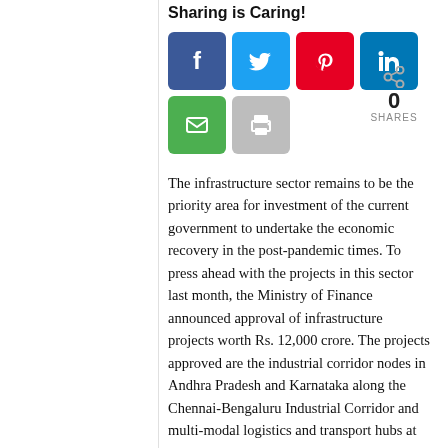Sharing is Caring!
[Figure (infographic): Social sharing buttons: Facebook (blue), Twitter (light blue), Pinterest (red), LinkedIn (dark blue), Email (green), Print (grey). Share count shows 0 SHARES.]
The infrastructure sector remains to be the priority area for investment of the current government to undertake the economic recovery in the post-pandemic times. To press ahead with the projects in this sector last month, the Ministry of Finance announced approval of infrastructure projects worth Rs. 12,000 crore. The projects approved are the industrial corridor nodes in Andhra Pradesh and Karnataka along the Chennai-Bengaluru Industrial Corridor and multi-modal logistics and transport hubs at Greater Noida in Uttar Pradesh. Rs.7,725 crore will be spent for the